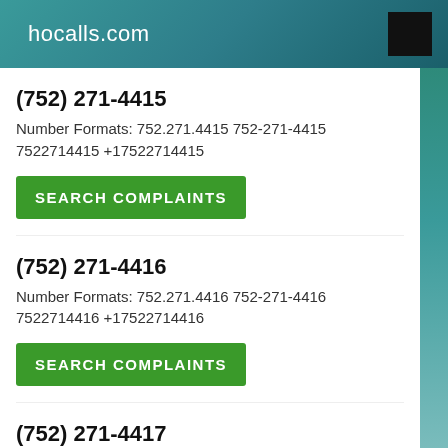hocalls.com
(752) 271-4415
Number Formats: 752.271.4415 752-271-4415 7522714415 +17522714415
SEARCH COMPLAINTS
(752) 271-4416
Number Formats: 752.271.4416 752-271-4416 7522714416 +17522714416
SEARCH COMPLAINTS
(752) 271-4417
Number Formats: 752.271.4417 752-271-4417 7522714417 +17522714417
SEARCH COMPLAINTS